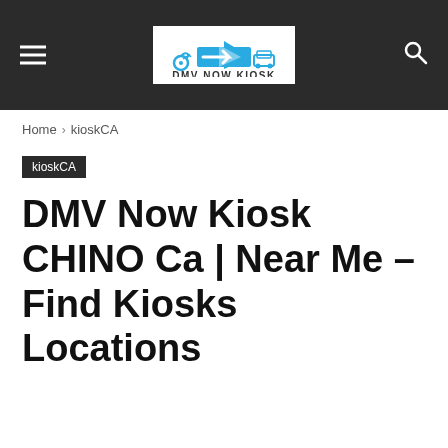DMV NOW KIOSK
Home › kioskCA
kioskCA
DMV Now Kiosk CHINO Ca | Near Me – Find Kiosks Locations